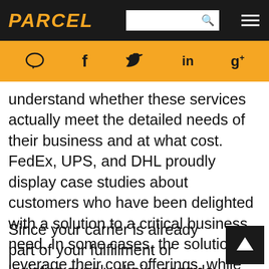[Figure (logo): PARCEL logo in italic bold orange text on dark background nav bar with search box and hamburger menu]
[Figure (infographic): Orange social media bar with icons: comment/speech bubble, Facebook (f), Twitter bird, LinkedIn (in), Google+ (g+)]
"solutions" groups that offer value-added services. The challenge for shippers is to understand whether these services actually meet the detailed needs of their business and at what cost. FedEx, UPS, and DHL proudly display case studies about customers who have been delighted with a solution to a critical business need. In some cases, the solutions leverage their core offerings, while others were delivered through their value-added capabilities.
Since your carrier is already part of your fulfillment or logistics supply chain, consider whether they can work more collaboratively. So